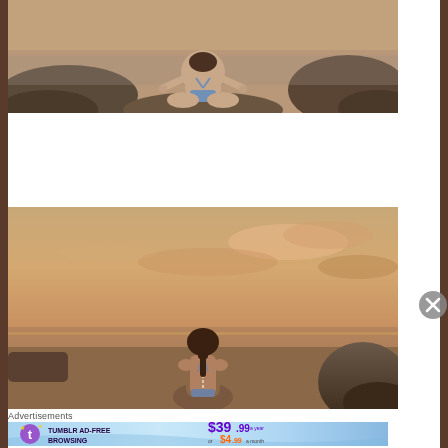[Figure (photo): Woman in blue bikini doing yoga meditation pose seated on rocks by the ocean, seen from behind, golden hour light]
[Figure (photo): Woman in bikini seated on rocks at beach during sunset, seen from behind, dramatic orange and pink sky with clouds]
Advertisements
[Figure (infographic): Tumblr Ad-Free Browsing advertisement banner: $39.99 a year or $4.99 a month, blue gradient background with Tumblr logo]